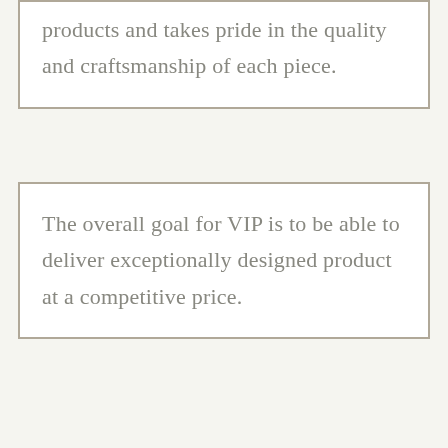products and takes pride in the quality and craftsmanship of each piece.
The overall goal for VIP is to be able to deliver exceptionally designed product at a competitive price.